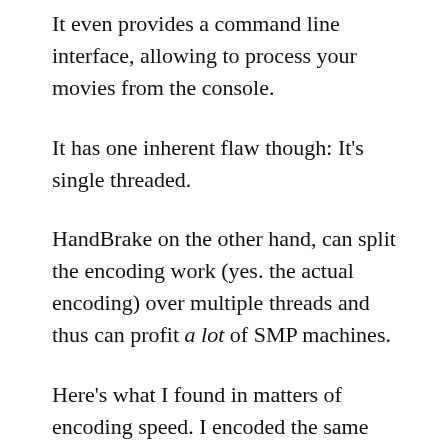It even provides a command line interface, allowing to process your movies from the console.
It has one inherent flaw though: It's single threaded.
HandBrake on the other hand, can split the encoding work (yes. the actual encoding) over multiple threads and thus can profit a lot of SMP machines.
Here's what I found in matters of encoding speed. I encoded the same video (from a DVD ISO image) with the same settings (x264, 1079kbit/s, 112kbit mp3 audio, 640×480 resolution, top foo) on different encoding